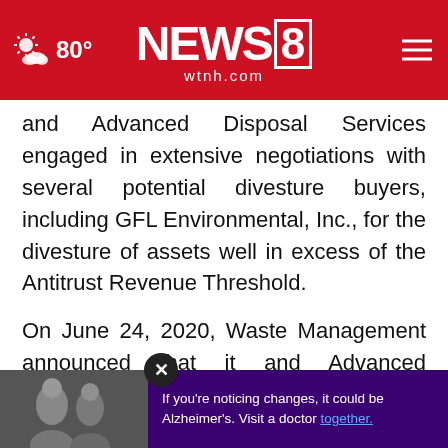80° NEWS8 wtnh.com
and Advanced Disposal Services engaged in extensive negotiations with several potential divesture buyers, including GFL Environmental, Inc., for the divesture of assets well in excess of the Antitrust Revenue Threshold.
On June 24, 2020, Waste Management announced that it and Advanced Disposal Services had revised the terms of the merger and that Waste Management needed to divest substantially more assets than previously disclosed to receive DOJ approval for the deal.
[Figure (screenshot): Advertisement overlay at bottom of page: close button (X), image of two people, purple background with text 'If you're noticing changes, it could be Alzheimer's. Visit a doctor together.']